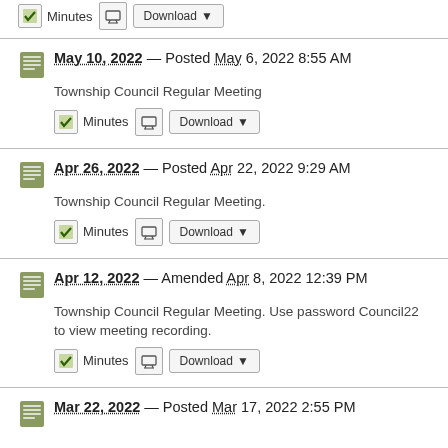Minutes  [button] Download
May 10, 2022 — Posted May 6, 2022 8:55 AM
Township Council Regular Meeting
Minutes  [TV icon]  Download
Apr 26, 2022 — Posted Apr 22, 2022 9:29 AM
Township Council Regular Meeting.
Minutes  [TV icon]  Download
Apr 12, 2022 — Amended Apr 8, 2022 12:39 PM
Township Council Regular Meeting. Use password Council22 to view meeting recording.
Minutes  [TV icon]  Download
Mar 22, 2022 — Posted Mar 17, 2022 2:55 PM